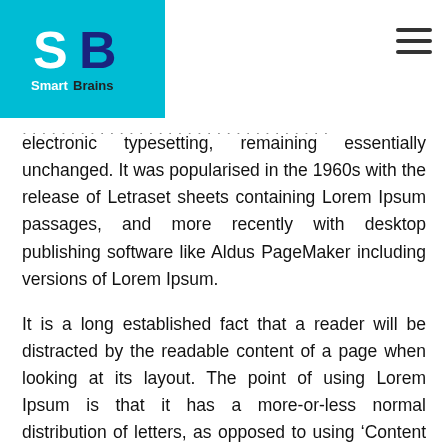SmartBrains logo and navigation
electronic typesetting, remaining essentially unchanged. It was popularised in the 1960s with the release of Letraset sheets containing Lorem Ipsum passages, and more recently with desktop publishing software like Aldus PageMaker including versions of Lorem Ipsum.
It is a long established fact that a reader will be distracted by the readable content of a page when looking at its layout. The point of using Lorem Ipsum is that it has a more-or-less normal distribution of letters, as opposed to using ‘Content here, content here’, making it look like readable English.
Many desktop publishing packages and web page editors now use Lorem Ipsum as their default model text, and a search for ‘lorem ipsum’ will uncover many web sites still in their infancy. Various versions have evolved over the years, sometimes by